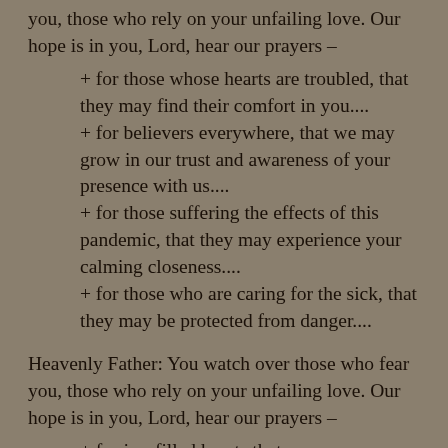you, those who rely on your unfailing love. Our hope is in you, Lord, hear our prayers –
+ for those whose hearts are troubled, that they may find their comfort in you....
+ for believers everywhere, that we may grow in our trust and awareness of your presence with us....
+ for those suffering the effects of this pandemic, that they may experience your calming closeness....
+ for those who are caring for the sick, that they may be protected from danger....
Heavenly Father: You watch over those who fear you, those who rely on your unfailing love. Our hope is in you, Lord, hear our prayers –
+ for joy-filled hearts that express your